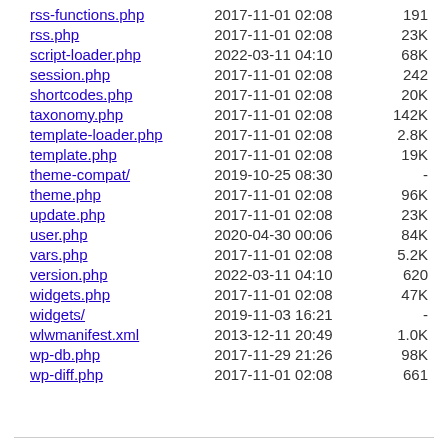| Name | Date | Size |
| --- | --- | --- |
| rss-functions.php | 2017-11-01 02:08 | 191 |
| rss.php | 2017-11-01 02:08 | 23K |
| script-loader.php | 2022-03-11 04:10 | 68K |
| session.php | 2017-11-01 02:08 | 242 |
| shortcodes.php | 2017-11-01 02:08 | 20K |
| taxonomy.php | 2017-11-01 02:08 | 142K |
| template-loader.php | 2017-11-01 02:08 | 2.8K |
| template.php | 2017-11-01 02:08 | 19K |
| theme-compat/ | 2019-10-25 08:30 | - |
| theme.php | 2017-11-01 02:08 | 96K |
| update.php | 2017-11-01 02:08 | 23K |
| user.php | 2020-04-30 00:06 | 84K |
| vars.php | 2017-11-01 02:08 | 5.2K |
| version.php | 2022-03-11 04:10 | 620 |
| widgets.php | 2017-11-01 02:08 | 47K |
| widgets/ | 2019-11-03 16:21 | - |
| wlwmanifest.xml | 2013-12-11 20:49 | 1.0K |
| wp-db.php | 2017-11-29 21:26 | 98K |
| wp-diff.php | 2017-11-01 02:08 | 661 |